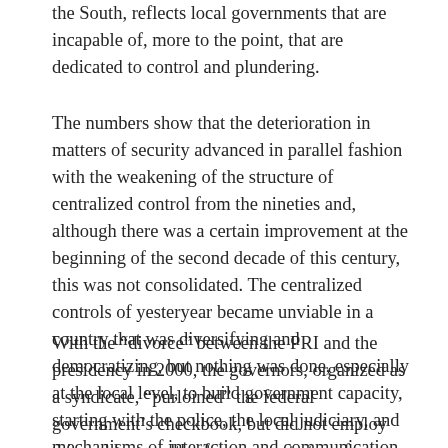the South, reflects local governments that are incapable of, more to the point, that are dedicated to control and plundering.
The numbers show that the deterioration in matters of security advanced in parallel fashion with the weakening of the structure of centralized control from the nineties and, although there was a certain improvement at the beginning of the second decade of this century, this was not consolidated. The centralized controls of yesteryear became unviable in a country that was diversifying and democratizing, but nothing was done, especially at the local level, to build government capacity, starting with the police, the local judiciary, and mechanisms of interaction and communication between the citizenry and the elected authorities.
With the “divorce” between the PRI and the presidency in 2000, the governors, organized as a syndicate, “purloined” the federal government’s checkbook, but did not employ this sudden wealth of resources to transform their structures with an eye toward the